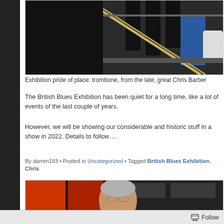[Figure (photo): Black and white photo showing a trombone on display with clothing racks in the background]
Exhibition pride of place: trombone, from the late, great Chris Barber
The British Blues Exhibition has been quiet for a long time, like a lot of events of the last couple of years.
However, we will be showing our considerable and historic stuff in a show in 2022. Details to follow….
By darren193 • Posted in Uncategorized • Tagged British Blues Exhibition, Chris
[Figure (photo): Photo of an elderly man with glasses standing in front of orange and dark panels]
Follow